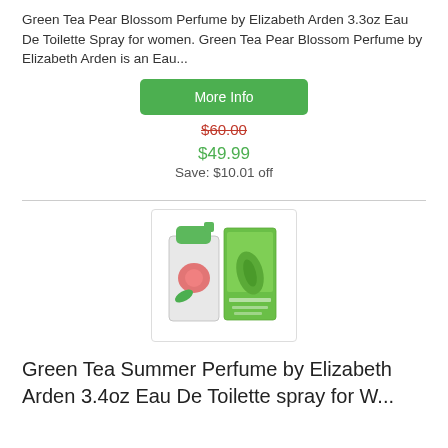Green Tea Pear Blossom Perfume by Elizabeth Arden 3.3oz Eau De Toilette Spray for women. Green Tea Pear Blossom Perfume by Elizabeth Arden is an Eau...
[Figure (other): Green button labeled 'More Info']
$60.00 (strikethrough, red)
$49.99
Save: $10.01 off
[Figure (photo): Product photo of Green Tea Summer Perfume by Elizabeth Arden — a spray bottle with green cap and green box with leaf design]
Green Tea Summer Perfume by Elizabeth Arden 3.4oz Eau De Toilette spray for W...